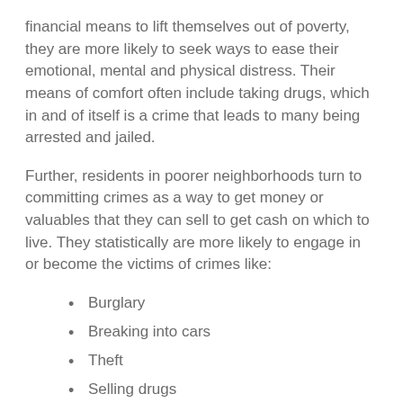financial means to lift themselves out of poverty, they are more likely to seek ways to ease their emotional, mental and physical distress. Their means of comfort often include taking drugs, which in and of itself is a crime that leads to many being arrested and jailed.
Further, residents in poorer neighborhoods turn to committing crimes as a way to get money or valuables that they can sell to get cash on which to live. They statistically are more likely to engage in or become the victims of crimes like:
Burglary
Breaking into cars
Theft
Selling drugs
Gang activities and turf wars
Shootings
Stabbings